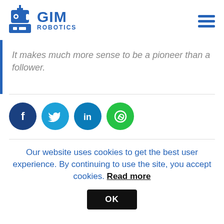[Figure (logo): GIM Robotics logo with robot icon and hamburger menu icon]
It makes much more sense to be a pioneer than a follower.
[Figure (infographic): Row of four social media share buttons: Facebook (dark blue), Twitter (light blue), LinkedIn (blue), WhatsApp (green)]
Our website uses cookies to get the best user experience. By continuing to use the site, you accept cookies. Read more
OK